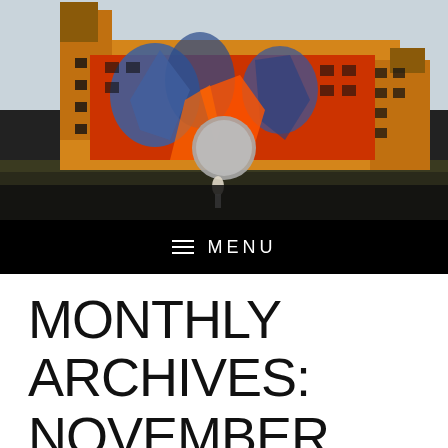[Figure (photo): Photograph of a large industrial building with colorful graffiti murals in red, orange, blue on its facade, taken at dusk with a grey sky. A large grey circular shape (possibly a weather balloon or logo) is visible in the center of the image.]
☰ MENU
MONTHLY ARCHIVES: NOVEMBER 2014
November 4, 2014 by admin
THE VALUE OF $19.61